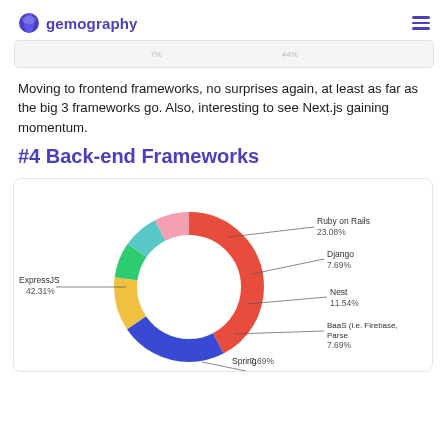gemography
Moving to frontend frameworks, no surprises again, at least as far as the big 3 frameworks go. Also, interesting to see Next.js gaining momentum.
#4 Back-end Frameworks
[Figure (donut-chart): Back-end Frameworks]